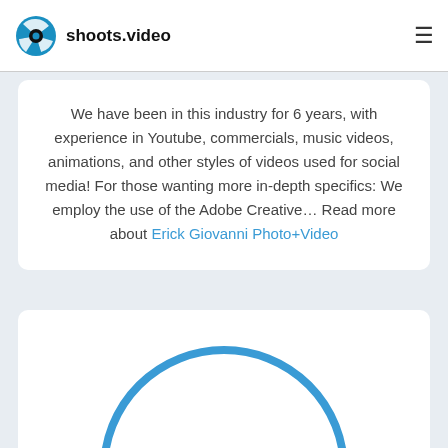shoots.video
We have been in this industry for 6 years, with experience in Youtube, commercials, music videos, animations, and other styles of videos used for social media! For those wanting more in-depth specifics: We employ the use of the Adobe Creative... Read more about Erick Giovanni Photo+Video
[Figure (illustration): Partial view of a circular profile image placeholder — a blue circle outline cropped at the bottom of the page]